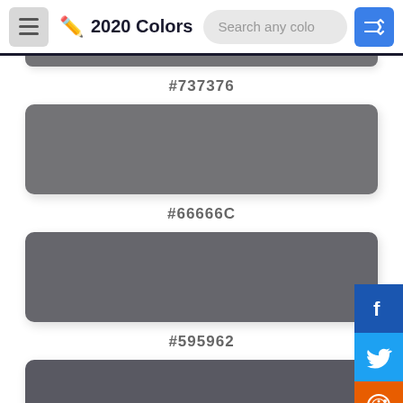2020 Colors
#737376
[Figure (other): Color swatch showing #737376 gray]
#66666C
[Figure (other): Color swatch showing #66666C dark gray]
#595962
[Figure (other): Color swatch showing #595962 darker gray, partially visible]
[Figure (infographic): Social share sidebar with Facebook, Twitter, Reddit, Pinterest, Email buttons]